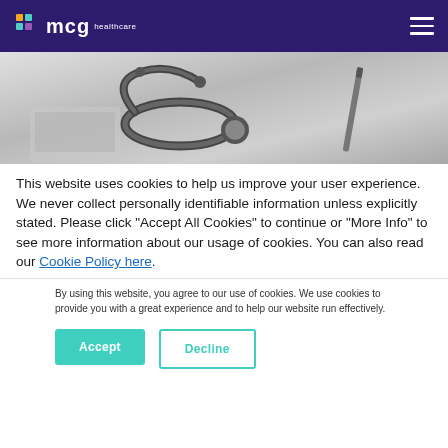mcg healthcare
[Figure (photo): Close-up photo of a stethoscope and pen on a desk/laptop, grayscale tones]
This website uses cookies to help us improve your user experience. We never collect personally identifiable information unless explicitly stated. Please click "Accept All Cookies" to continue or "More Info" to see more information about our usage of cookies. You can also read our Cookie Policy here.
By using this website, you agree to our use of cookies. We use cookies to provide you with a great experience and to help our website run effectively.
Accept
Decline